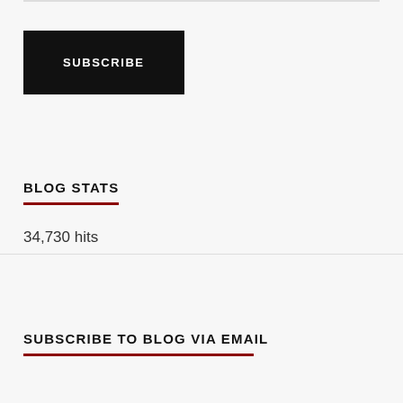SUBSCRIBE
BLOG STATS
34,730 hits
SUBSCRIBE TO BLOG VIA EMAIL